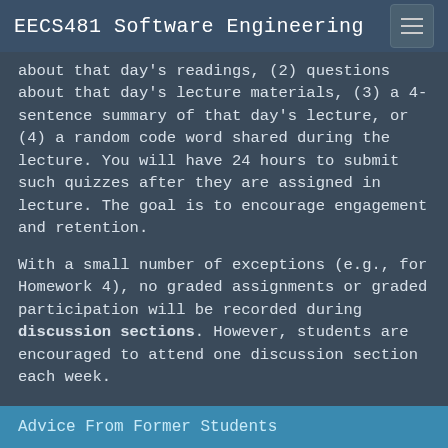EECS481 Software Engineering
about that day's readings, (2) questions about that day's lecture materials, (3) a 4-sentence summary of that day's lecture, or (4) a random code word shared during the lecture. You will have 24 hours to submit such quizzes after they are assigned in lecture. The goal is to encourage engagement and retention.
With a small number of exceptions (e.g., for Homework 4), no graded assignments or graded participation will be recorded during discussion sections. However, students are encouraged to attend one discussion section each week.
The course schedule is available in advance so that you can plan accordingly.
Advice From Former Students